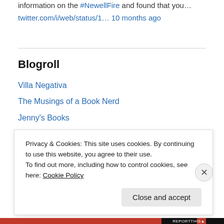information on the #NewellFire and found that you…
twitter.com/i/web/status/1… 10 months ago
Blogroll
Villa Negativa
The Musings of a Book Nerd
Jenny's Books
Buttah
The Literary Lollipop
Chachic's Book Nook
Privacy & Cookies: This site uses cookies. By continuing to use this website, you agree to their use.
To find out more, including how to control cookies, see here: Cookie Policy
Close and accept